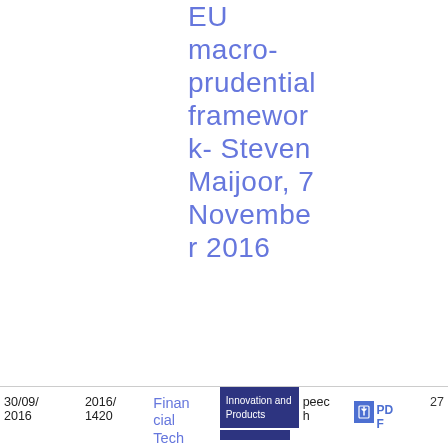EU macro-prudential framework- Steven Maijoor, 7 November 2016
| Date | Ref | Title | Tag | Type | PDF |  |
| --- | --- | --- | --- | --- | --- | --- |
| 30/09/
2016 | 2016/
1420 | Financial Tech | Innovation and Products | speech | PDF | 27 |